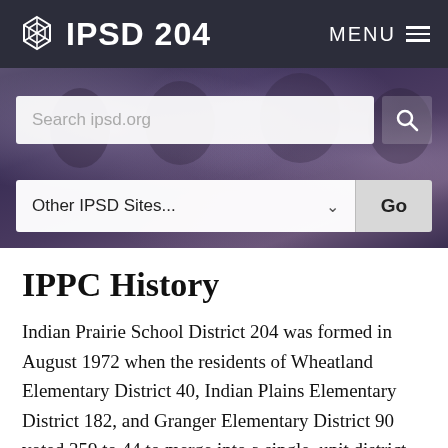IPSD 204  MENU
[Figure (screenshot): Hero banner image showing students playing instruments (band/orchestra), partially obscured. Contains a search bar with placeholder 'Search ipsd.org' and a search icon, plus a dropdown labeled 'Other IPSD Sites...' with a 'Go' button.]
IPPC History
Indian Prairie School District 204 was formed in August 1972 when the residents of Wheatland Elementary District 40, Indian Plains Elementary District 182, and Granger Elementary District 90 voted 359 to 44 to merge into a single, unit district. The district educated its kindergarten-eighth graders in